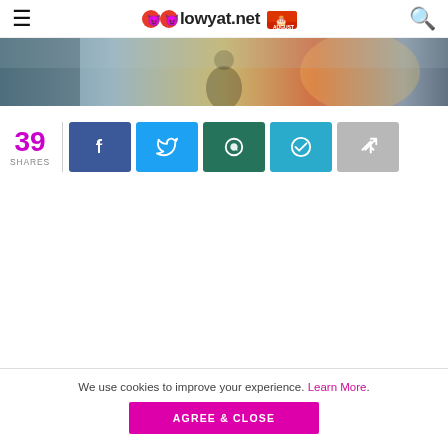lowyat.net
[Figure (photo): Hero image strip showing a gaming/action scene with atmospheric lighting]
39 SHARES
[Figure (infographic): Social share buttons: Facebook, Twitter, WhatsApp, Telegram, Share]
We use cookies to improve your experience. Learn More.
AGREE & CLOSE